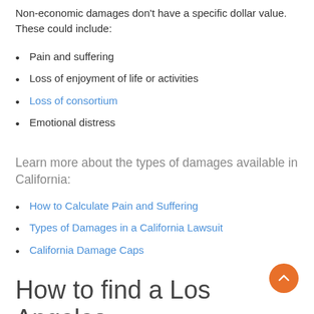Non-economic damages don't have a specific dollar value. These could include:
Pain and suffering
Loss of enjoyment of life or activities
Loss of consortium
Emotional distress
Learn more about the types of damages available in California:
How to Calculate Pain and Suffering
Types of Damages in a California Lawsuit
California Damage Caps
How to find a Los Angeles